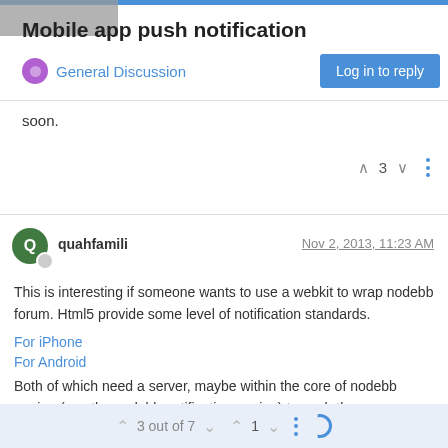Mobile app push notification
General Discussion
Log in to reply
soon.
3
quahfamili  Nov 2, 2013, 11:23 AM
This is interesting if someone wants to use a webkit to wrap nodebb forum. Html5 provide some level of notification standards.
For iPhone
For Android
Both of which need a server, maybe within the core of nodebb engine (use the nodebb notification engine) to push the message out and using the webkit to serve the site.
3 out of 7  1